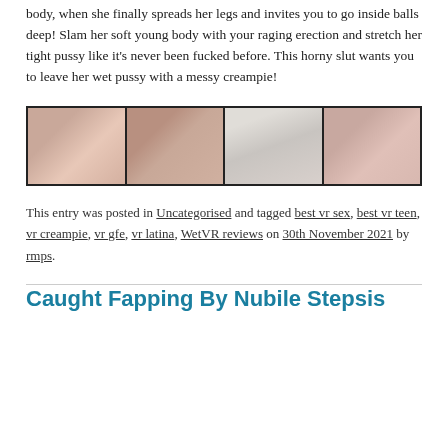body, when she finally spreads her legs and invites you to go inside balls deep! Slam her soft young body with your raging erection and stretch her tight pussy like it’s never been fucked before. This horny slut wants you to leave her wet pussy with a messy creampie!
[Figure (photo): Four horizontal thumbnail images showing adult content scenes side by side in a strip with dark border]
This entry was posted in Uncategorised and tagged best vr sex, best vr teen, vr creampie, vr gfe, vr latina, WetVR reviews on 30th November 2021 by rmps.
Caught Fapping By Nubile Stepsis